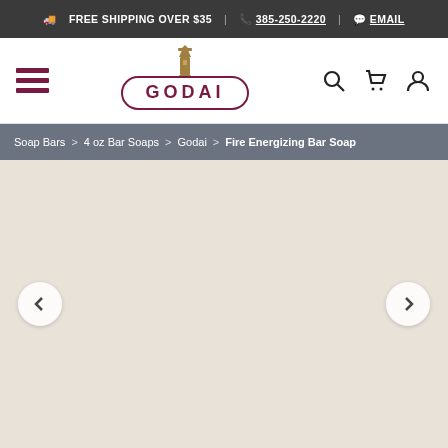FREE SHIPPING OVER $35 | 385-250-2220 | EMAIL
[Figure (logo): Godai brand logo with lighthouse icon above pill-shaped border containing text GODAI]
Soap Bars > 4 oz Bar Soaps > Godai > Fire Energizing Bar Soap
[Figure (photo): Product image area with light beige/tan background, left and right navigation arrows for image carousel]